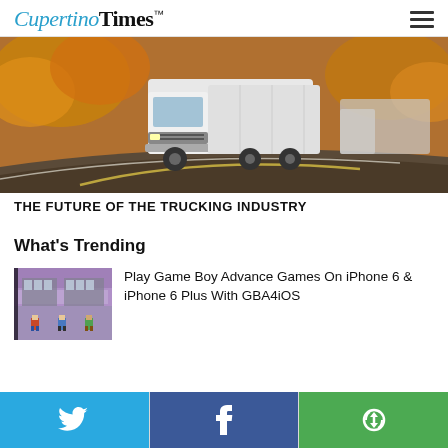Cupertino Times
[Figure (photo): A white truck on a winding road with autumn foliage backdrop, shot from front angle]
THE FUTURE OF THE TRUCKING INDUSTRY
What's Trending
[Figure (screenshot): Game Boy Advance game screenshot showing pixel art characters on a map]
Play Game Boy Advance Games On iPhone 6 & iPhone 6 Plus With GBA4iOS